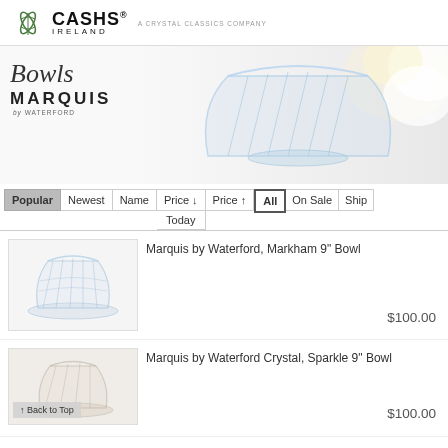[Figure (logo): Cashs Ireland logo - leaf icon with CASHS® IRELAND text and 'A Crystal Classics Company' tagline]
[Figure (photo): Hero image showing crystal bowl with white flowers background and Bowls / Marquis by Waterford text overlay]
Bowls
MARQUIS by Waterford
Popular
Newest
Name
Price ↓ Today
Price ↑
All
On Sale
Ship
[Figure (photo): Crystal bowl product photo for Marquis by Waterford Markham 9 inch Bowl]
Marquis by Waterford, Markham 9" Bowl
$100.00
[Figure (photo): Crystal bowl product photo for Marquis by Waterford Crystal Sparkle 9 inch Bowl]
Marquis by Waterford Crystal, Sparkle 9" Bowl
$100.00